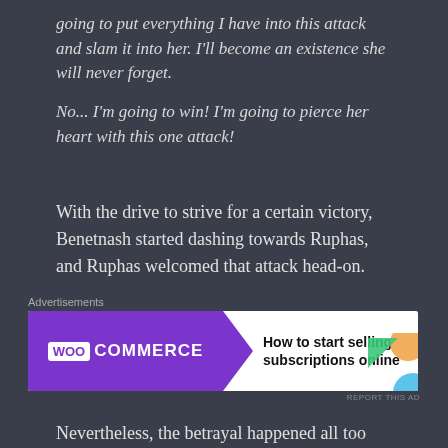going to put everything I have into this attack and slam it into her. I'll become an existence she will never forget.
No... I'm going to win! I'm going to pierce her heart with this one attack!
With the drive to strive for a certain victory, Benetnash started dashing towards Ruphas, and Ruphas welcomed that attack head-on.
[Figure (other): WooCommerce advertisement banner: 'How to start selling subscriptions online']
Nevertheless, the betrayal happened all too suddenly.